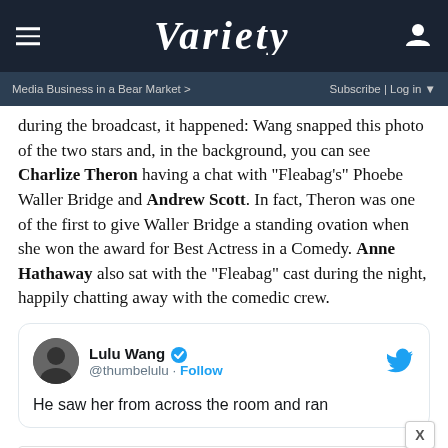VARIETY
Media Business in a Bear Market > | Subscribe | Log in
during the broadcast, it happened: Wang snapped this photo of the two stars and, in the background, you can see Charlize Theron having a chat with "Fleabag's" Phoebe Waller Bridge and Andrew Scott. In fact, Theron was one of the first to give Waller Bridge a standing ovation when she won the award for Best Actress in a Comedy. Anne Hathaway also sat with the "Fleabag" cast during the night, happily chatting away with the comedic crew.
[Figure (screenshot): Embedded tweet from Lulu Wang (@thumbelulu) with Twitter verified badge and Follow button. Tweet text partially visible: 'He saw her from across the room and ran'. Twitter bird icon top right. Close X button.]
[Figure (infographic): Advertisement banner: HC salon logo in yellow square, text 'View store hours, get directions, or call your salon!', blue diamond navigation icon. Below: play and X icons.]